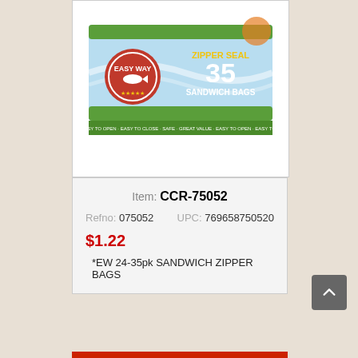[Figure (photo): Box of Easy Way Zipper Seal 35 Sandwich Bags product packaging with blue/green design]
Item: CCR-75052
Refno: 075052   UPC: 769658750520
$1.22
*EW 24-35pk SANDWICH ZIPPER BAGS